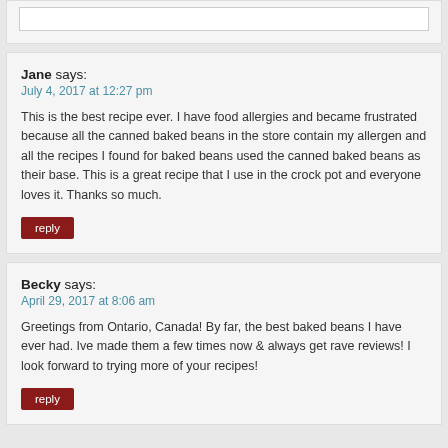Jane says: July 4, 2017 at 12:27 pm
This is the best recipe ever. I have food allergies and became frustrated because all the canned baked beans in the store contain my allergen and all the recipes I found for baked beans used the canned baked beans as their base. This is a great recipe that I use in the crock pot and everyone loves it. Thanks so much.
reply
Becky says: April 29, 2017 at 8:06 am
Greetings from Ontario, Canada! By far, the best baked beans I have ever had. Ive made them a few times now & always get rave reviews! I look forward to trying more of your recipes!
reply